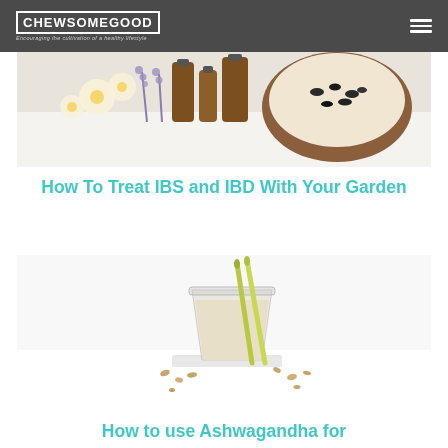CHEWSOMEGOOD — Encouraging the cultivation of a healthy lifestyle
[Figure (photo): Herbal essential oils and dried flowers/herbs in a wooden bowl on a white surface]
How To Treat IBS and IBD With Your Garden
[Figure (photo): A glass of creamy white smoothie or milk drink with two yellow-green straws, surrounded by scattered seeds/nuts on a white surface]
How to use Ashwagandha for